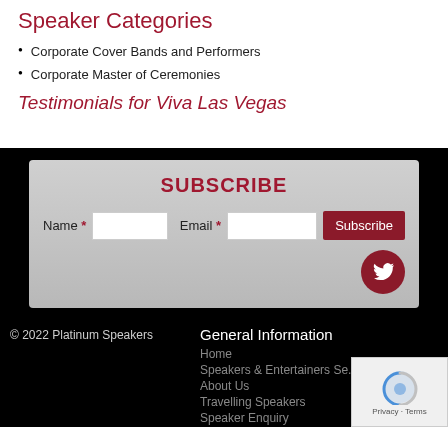Speaker Categories
Corporate Cover Bands and Performers
Corporate Master of Ceremonies
Testimonials for Viva Las Vegas
SUBSCRIBE
Name * [input] Email * [input] Subscribe
[Figure (logo): Twitter bird icon in dark red circle]
© 2022 Platinum Speakers
General Information
Home
Speakers & Entertainers Se...
About Us
Travelling Speakers
Speaker Enquiry
[Figure (other): reCAPTCHA widget showing Privacy - Terms]